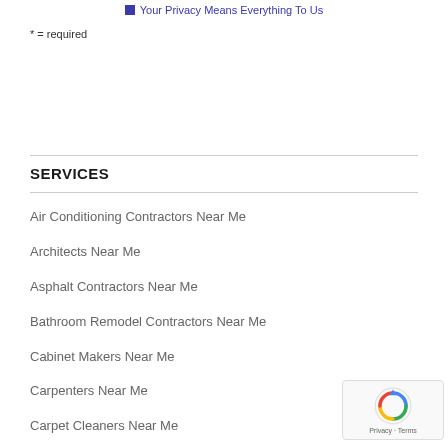Your Privacy Means Everything To Us
* = required
SERVICES
Air Conditioning Contractors Near Me
Architects Near Me
Asphalt Contractors Near Me
Bathroom Remodel Contractors Near Me
Cabinet Makers Near Me
Carpenters Near Me
Carpet Cleaners Near Me